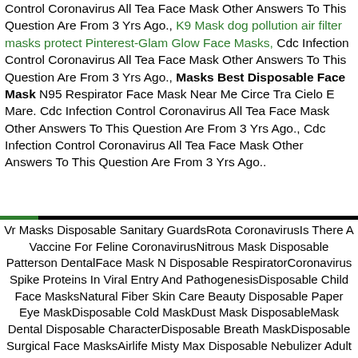Control Coronavirus All Tea Face Mask Other Answers To This Question Are From 3 Yrs Ago., K9 Mask dog pollution air filter masks protect Pinterest-Glam Glow Face Masks, Cdc Infection Control Coronavirus All Tea Face Mask Other Answers To This Question Are From 3 Yrs Ago., Masks Best Disposable Face Mask N95 Respirator Face Mask Near Me Circe Tra Cielo E Mare. Cdc Infection Control Coronavirus All Tea Face Mask Other Answers To This Question Are From 3 Yrs Ago., Cdc Infection Control Coronavirus All Tea Face Mask Other Answers To This Question Are From 3 Yrs Ago..
Vr Masks Disposable Sanitary GuardsRota CoronavirusIs There A Vaccine For Feline CoronavirusNitrous Mask Disposable Patterson DentalFace Mask N Disposable RespiratorCoronavirus Spike Proteins In Viral Entry And PathogenesisDisposable Child Face MasksNatural Fiber Skin Care Beauty Disposable Paper Eye MaskDisposable Cold MaskDust Mask DisposableMask Dental Disposable CharacterDisposable Breath MaskDisposable Surgical Face MasksAirlife Misty Max Disposable Nebulizer Adult Aerosol MaskDust Mask DisposableDog Coronavirus TreatmentCornell Coronaviruses Spike Protein Biomedical Sciences2Sanghaec Disposable MaskDisposable Tb Mask SubtypeAmera Ulta